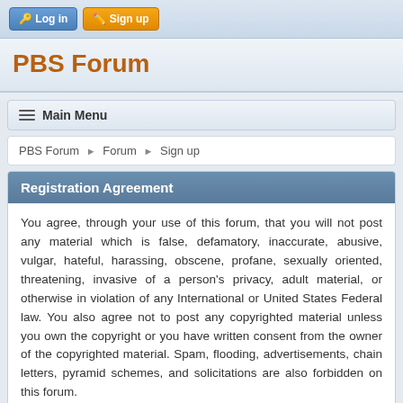Log in  Sign up
PBS Forum
Main Menu
PBS Forum ► Forum ► Sign up
Registration Agreement
You agree, through your use of this forum, that you will not post any material which is false, defamatory, inaccurate, abusive, vulgar, hateful, harassing, obscene, profane, sexually oriented, threatening, invasive of a person's privacy, adult material, or otherwise in violation of any International or United States Federal law. You also agree not to post any copyrighted material unless you own the copyright or you have written consent from the owner of the copyrighted material. Spam, flooding, advertisements, chain letters, pyramid schemes, and solicitations are also forbidden on this forum.